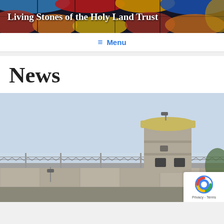[Figure (illustration): Living Stones of the Holy Land Trust banner with colorful stained glass background and bold white serif text reading 'Living Stones of the Holy Land Trust']
≡ Menu
News
[Figure (photo): Photograph of a concrete separation wall with barbed wire fencing and a military watchtower against a pale blue sky]